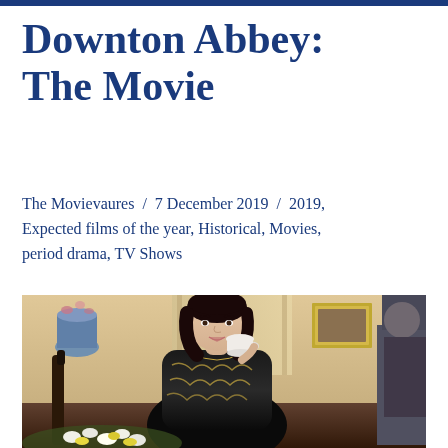Downton Abbey: The Movie
The Movievaures / 7 December 2019 / 2019, Expected films of the year, Historical, Movies, period drama, TV Shows
[Figure (photo): A woman with a dark bob haircut wearing an ornate black and gold dress, sitting at a table and drinking from a teacup, in an elegant room with warm golden tones and flowers in the foreground.]